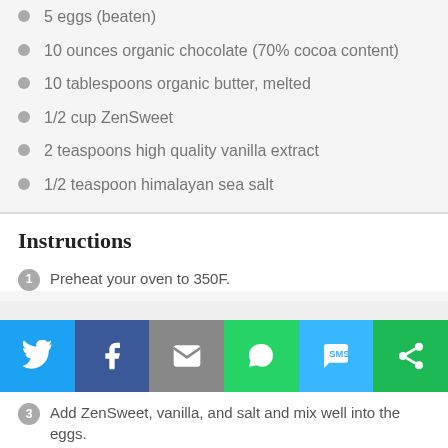5 eggs (beaten)
10 ounces organic chocolate (70% cocoa content)
10 tablespoons organic butter, melted
1/2 cup ZenSweet
2 teaspoons high quality vanilla extract
1/2 teaspoon himalayan sea salt
Instructions
1. Preheat your oven to 350F.
[Figure (infographic): Social sharing bar with Twitter, Facebook, Email, WhatsApp, SMS, and Share buttons]
3. Add ZenSweet, vanilla, and salt and mix well into the eggs.
4. In a saucepan, melt the butter over low heat